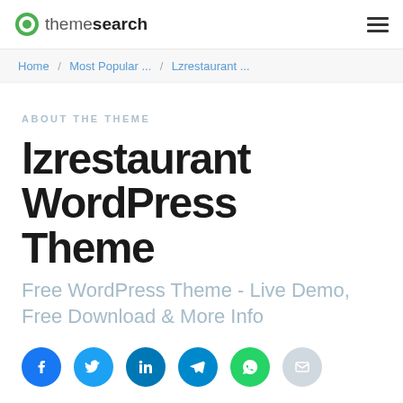themessearch
Home / Most Popular ... / Lzrestaurant ...
ABOUT THE THEME
lzrestaurant WordPress Theme
Free WordPress Theme - Live Demo, Free Download & More Info
[Figure (infographic): Social share buttons: Facebook, Twitter, LinkedIn, Telegram, WhatsApp, Email]